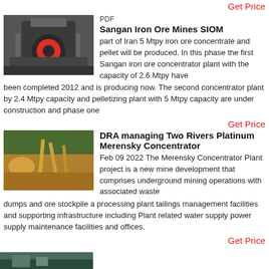Get Price
[Figure (photo): Industrial mining crusher/concentrator equipment in a factory setting]
PDF
Sangan Iron Ore Mines SIOM
part of Iran 5 Mtpy iron ore concentrate and pellet will be produced. In this phase the first Sangan iron ore concentrator plant with the capacity of 2.6 Mtpy have been completed 2012 and is producing now. The second concentrator plant by 2.4 Mtpy capacity and pelletizing plant with 5 Mtpy capacity are under construction and phase one
Get Price
[Figure (photo): Open-pit mining operations with yellow machinery and red earth]
DRA managing Two Rivers Platinum Merensky Concentrator
Feb 09 2022  The Merensky Concentrator Plant project is a new mine development that comprises underground mining operations with associated waste dumps and ore stockpile a processing plant tailings management facilities and supporting infrastructure including Plant related water supply power supply maintenance facilities and offices.
Get Price
[Figure (photo): Partial view of mining or industrial site at bottom of page]